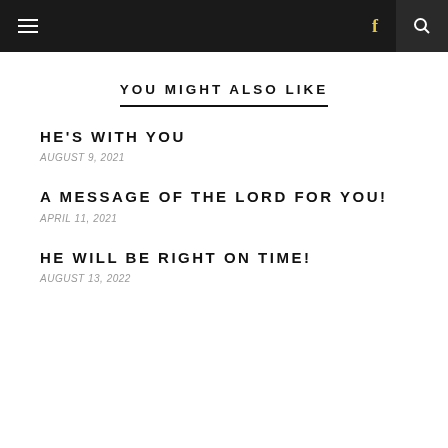Navigation bar with menu, Facebook, and search icons
YOU MIGHT ALSO LIKE
HE'S WITH YOU
AUGUST 9, 2021
A MESSAGE OF THE LORD FOR YOU!
APRIL 11, 2021
HE WILL BE RIGHT ON TIME!
AUGUST 13, 2022